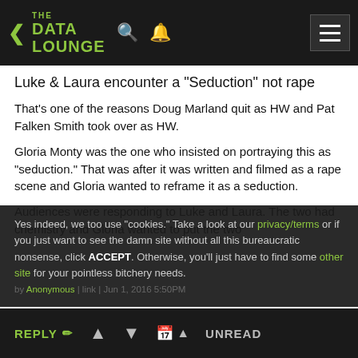THE DATA LOUNGE
Luke & Laura encounter a "Seduction" not rape
That's one of the reasons Doug Marland quit as HW and Pat Falken Smith took over as HW.
Gloria Monty was the one who insisted on portraying this as "seduction." That was after it was written and filmed as a rape scene and Gloria wanted to reframe it as a seduction.
Audiences were responding to Luke and Laura. The two had chemistry and Gloria wanted to put the two together. She took...
Yes indeed, we too use "cookies." Take a look at our privacy/terms or if you just want to see the damn site without all this bureaucratic nonsense, click ACCEPT. Otherwise, you'll just have to find some other site for your pointless bitchery needs.
REPLY  ▲  ▼  🗓  ▲  UNREAD